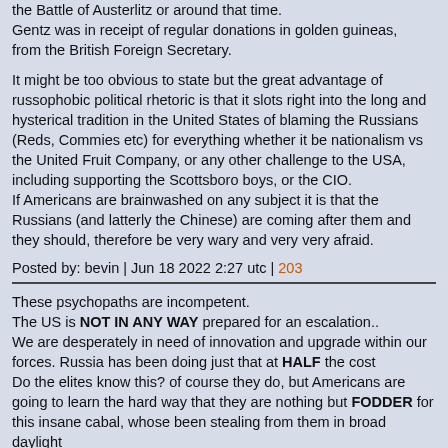the Battle of Austerlitz or around that time.
Gentz was in receipt of regular donations in golden guineas, from the British Foreign Secretary.

It might be too obvious to state but the great advantage of russophobic political rhetoric is that it slots right into the long and hysterical tradition in the United States of blaming the Russians (Reds, Commies etc) for everything whether it be nationalism vs the United Fruit Company, or any other challenge to the USA, including supporting the Scottsboro boys, or the CIO.
If Americans are brainwashed on any subject it is that the Russians (and latterly the Chinese) are coming after them and they should, therefore be very wary and very very afraid.
Posted by: bevin | Jun 18 2022 2:27 utc | 203
These psychopaths are incompetent.
The US is NOT IN ANY WAY prepared for an escalation..
We are desperately in need of innovation and upgrade within our forces. Russia has been doing just that at HALF the cost
Do the elites know this? of course they do, but Americans are going to learn the hard way that they are nothing but FODDER for this insane cabal, whose been stealing from them in broad daylight